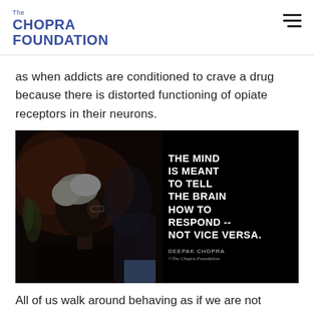The CHOPRA FOUNDATION
as when addicts are conditioned to crave a drug because there is distorted functioning of opiate receptors in their neurons.
[Figure (photo): Inspirational quote image with dark background showing an elderly person in profile on the left side, and text on the right reading: 'THE MIND IS MEANT TO TELL THE BRAIN HOW TO RESPOND -- NOT VICE VERSA.' attributed to DEEPAK CHOPRA, ©The Chopra Foundation]
All of us walk around behaving as if we are not